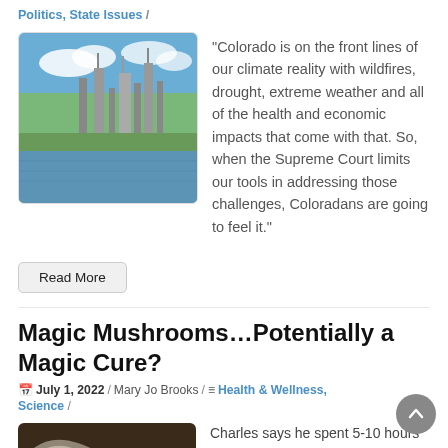Politics, State Issues /
[Figure (photo): Industrial facility/refinery with water reflection and sky]
“Colorado is on the front lines of our climate reality with wildfires, drought, extreme weather and all of the health and economic impacts that come with that. So, when the Supreme Court limits our tools in addressing those challenges, Coloradans are going to feel it.”
Read More
Magic Mushrooms…Potentially a Magic Cure?
📅 July 1, 2022 / Mary Jo Brooks / ≡ Health & Wellness, Science /
[Figure (photo): Hands holding mushrooms, close-up]
Charles says he spent 5-10 hours a week Googling possible alternative treatments and